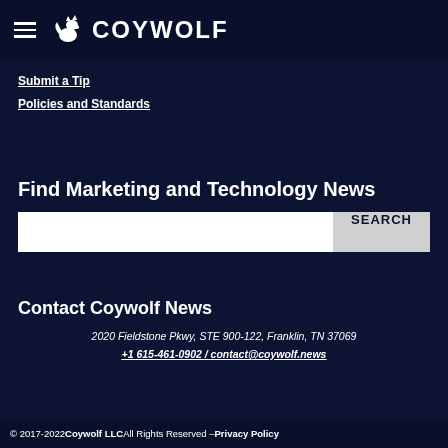[Figure (logo): Coywolf logo with stylized fox/wolf icon and COYWOLF text in white on dark navy header]
Submit a Tip
Policies and Standards
Find Marketing and Technology News
[Figure (other): Search bar with white input field and SEARCH button]
Contact Coywolf News
2020 Fieldstone Pkwy, STE 900-122, Franklin, TN 37069
+1 615-461-0902 / contact@coywolf.news
© 2017-2022 Coywolf LLC All Rights Reserved – Privacy Policy